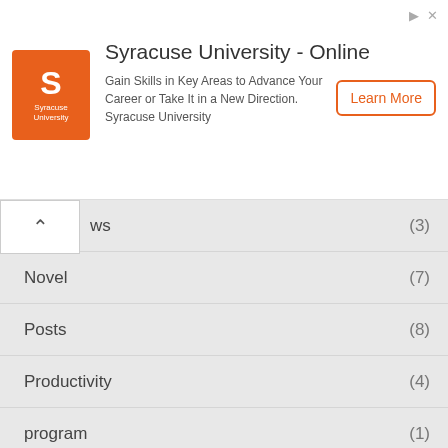[Figure (infographic): Syracuse University Online advertisement banner with orange logo, title, description text, and Learn More button]
ws (3)
Novel (7)
Posts (8)
Productivity (4)
program (1)
scholarship (1)
Skills (7)
Recent Posts